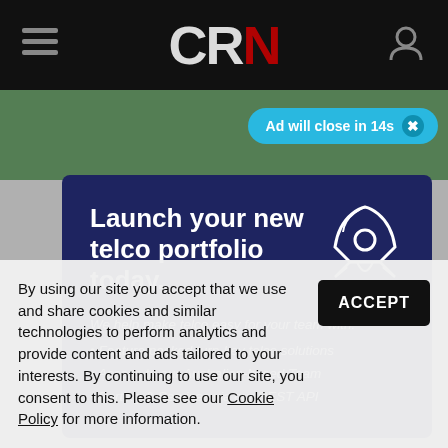CRN
[Figure (screenshot): Ad close pill: 'Ad will close in 14s' with close button X]
[Figure (infographic): Dark navy blue advertisement overlay with rocket icon. Title: 'Launch your new telco portfolio today.' Body text: 'We help make telco easy for your team with: • Feature packed turn-key telco solutions • Access to our Australian-based Team • Porting & Services via our REST API']
By using our site you accept that we use and share cookies and similar technologies to perform analytics and provide content and ads tailored to your interests. By continuing to use our site, you consent to this. Please see our Cookie Policy for more information.